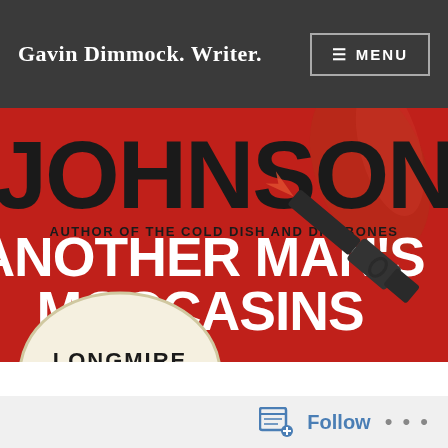Gavin Dimmock. Writer.
[Figure (illustration): Book cover for 'Another Man's Moccasins' by Craig Johnson, author of The Cold Dish and Dry Bones. Red background with large black text 'JOHNSON' at top, smaller black caps text 'AUTHOR OF THE COLD DISH AND DRY BONES', white bold text 'ANOTHER MAN'S MOCCASINS', a gun/pistol graphic on right side, and partial circular badge at bottom reading 'LONGMIRE']
Follow